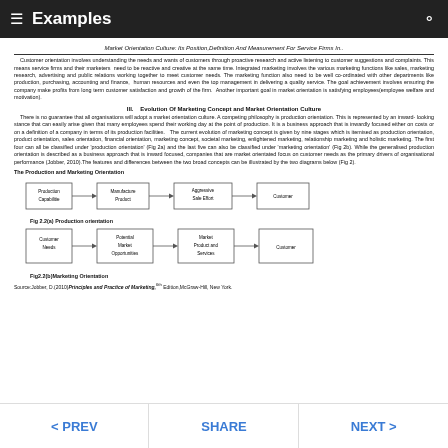Examples
Market Orientation Culture: Its Position,Definition And Measurement For Service Firms In..
Customer orientation involves understanding the needs and wants of customers through proactive research and active listening to customer suggestions and complaints. This means service firms and their marketers need to be reactive and creative at the same time. Integrated marketing involves the various marketing functions like sales, marketing research, advertising and public relations working together to meet customer needs. The marketing function also need to be well co-ordinated with other departments like production, purchasing, accounting and finance, human resources and even the top management in delivering a quality service. The goal achievement involves ensuring the company make profits from long term customer satisfaction and growth of the firm. Another important goal in market orientation is satisfying employees(employee welfare and motivation).
III. Evolution Of Marketing Concept and Market Orientation Culture
There is no guarantee that all organisations will adopt a market orientation culture. A competing philosophy is production orientation. This is represented by an inward- looking stance that can easily arise given that many employees spend their working day at the point of production. It is a business approach that is inwardly focused either on costs or on a definition of a company in terms of its production facilities. The current evolution of marketing concept is given by nine stages which is itemised as production orientation, product orientation, sales orientation, financial orientation, marketing concept, societal marketing, enlightened marketing, relationship marketing and holistic marketing. The first four can all be classified under 'production orientation' (Fig 2a) and the last five can also be classified under 'marketing orientation' (Fig 2b). While the generalised production orientation is described as a business approach that is inward focused, companies that are market orientated focus on customer needs as the primary drivers of organisational performance (Jobber, 2010).The features and differences between the two broad concepts can be illustrated by the two diagrams below (Fig 2).
The Production and Marketing Orientation
[Figure (flowchart): Production orientation flowchart: Production Capabilities → Manufacture Product → Aggressive Sale Effort → Customer]
Fig 2.2(a) Production orientation
[Figure (flowchart): Marketing orientation flowchart: Customer Needs → Potential Market Opportunities → Market Product and Services → Customer]
Fig2.2(b)Marketing Orientation
Source:Jobber, D.(2010)Principles and Practice of Marketing,6th Edition,McGraw-Hill, New York.
< PREV   SHARE   NEXT >